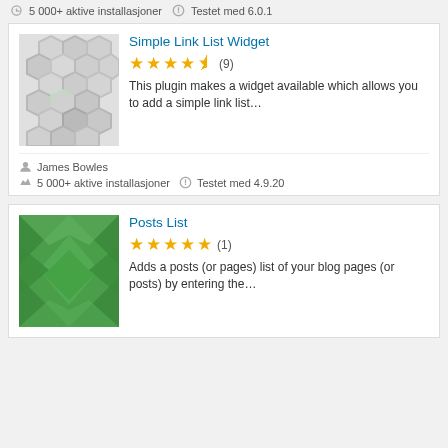5 000+ aktive installasjoner   Testet med 6.0.1
[Figure (illustration): Gray hexagon pattern plugin icon for Simple Link List Widget]
Simple Link List Widget
★★★★½ (9)
This plugin makes a widget available which allows you to add a simple link list…
James Bowles
5 000+ aktive installasjoner   Testet med 4.9.20
[Figure (illustration): Green geometric diamond pattern plugin icon for Posts List]
Posts List
★★★★★ (1)
Adds a posts (or pages) list of your blog pages (or posts) by entering the…